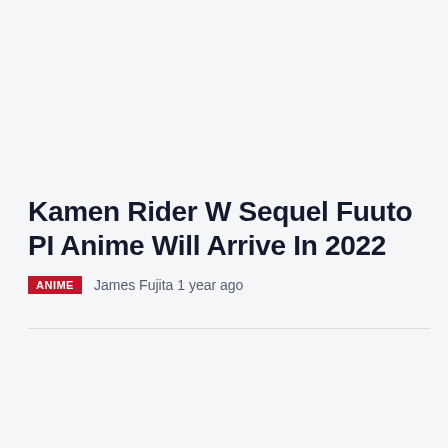Kamen Rider W Sequel Fuuto PI Anime Will Arrive In 2022
ANIME   James Fujita 1 year ago